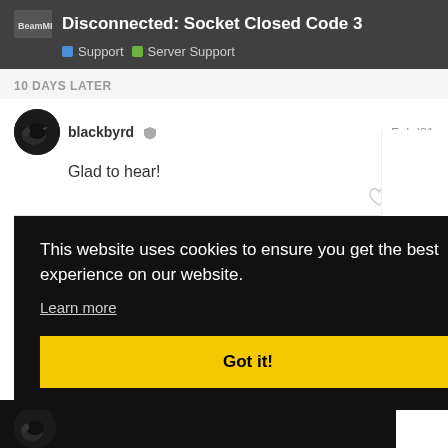Disconnected: Socket Closed Code 3 — Support › Server Support
10 DAYS LATER
blackbyrd  Feb '21
Glad to hear!
[Figure (screenshot): Cookie consent overlay on dark background with text 'This website uses cookies to ensure you get the best experience on our website.' and a 'Learn more' link and a yellow 'Got it!' button]
Feb '21
Feb '21